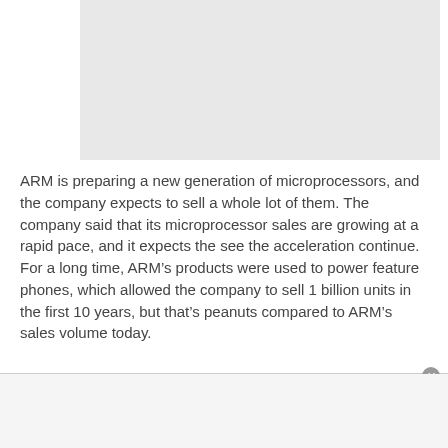[Figure (other): Gray placeholder image area at the top of the page]
ARM is preparing a new generation of microprocessors, and the company expects to sell a whole lot of them. The company said that its microprocessor sales are growing at a rapid pace, and it expects the see the acceleration continue. For a long time, ARM’s products were used to power feature phones, which allowed the company to sell 1 billion units in the first 10 years, but that’s peanuts compared to ARM’s sales volume today.